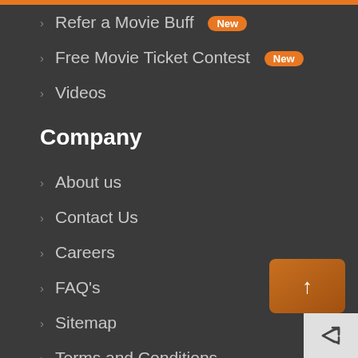Refer a Movie Buff [New]
Free Movie Ticket Contest [New]
Videos
Company
About us
Contact Us
Careers
FAQ's
Sitemap
Terms and Conditions
Privacy Policy